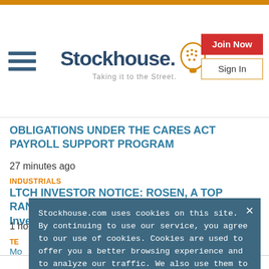[Figure (logo): Stockhouse logo with hamburger menu, Stockhouse wordmark with icon, tagline 'Taking it to the Street.', Join Now and Sign In buttons]
OBLIGATIONS UNDER THE CARES ACT PAYROLL SUPPORT PROGRAM
27 minutes ago
INDUSTRIALS
LTCH INVESTOR NOTICE: ROSEN, A TOP RANKED LAW FIRM, Encourages Latch, Inc. Investors with Losses...
1 hour ago
Stockhouse.com uses cookies on this site. By continuing to use our service, you agree to our use of cookies. Cookies are used to offer you a better browsing experience and to analyze our traffic. We also use them to share usage information with our partners. See full details.
I Agree